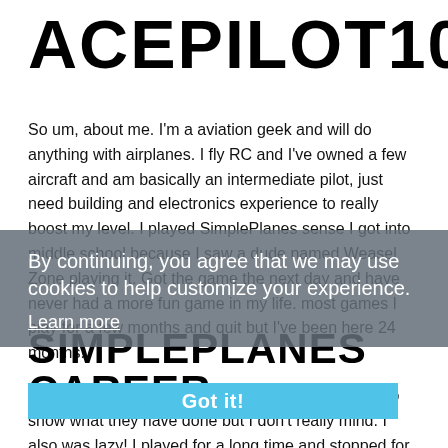ACEPILOT109
So um, about me. I'm a aviation geek and will do anything with airplanes. I fly RC and I've owned a few aircraft and am basically an intermediate pilot, just need building and electronics experience to really boost my level. I played SimplePlanes sense I got into middle school because I saw a dude named Weasel Zone playing it. Got the game the next day and have never had a more fun game in my life. most games I play for a few months and quit but I've been here 24 months!
By continuing, you agree that we may use cookies to help customize your experience.
Learn more
SIMPLEPLANES CAREER
Got it!
Most people would put accomplishments and stuff to show what they have done but I don't really mind. I also was lazy! I played for a long time and stopped for a few months (about 2k points away